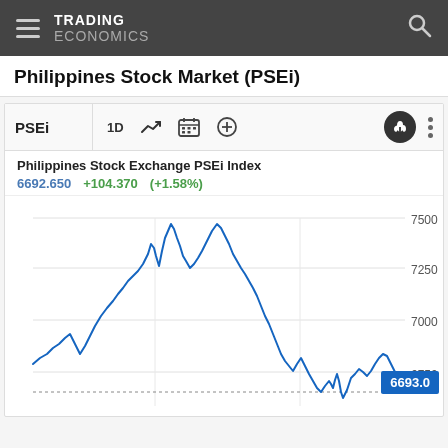TRADING ECONOMICS
Philippines Stock Market (PSEi)
[Figure (continuous-plot): Line chart of the Philippines Stock Exchange PSEi Index showing price history. Current value: 6692.650, change: +104.370 (+1.58%). Y-axis ranges from approximately 6750 to 7500. The line shows the index rising from around 6900, peaking near 7500, then declining to current levels around 6693.]